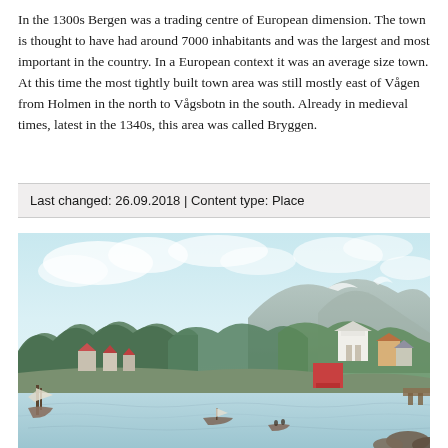In the 1300s Bergen was a trading centre of European dimension. The town is thought to have had around 7000 inhabitants and was the largest and most important in the country. In a European context it was an average size town. At this time the most tightly built town area was still mostly east of Vågen from Holmen in the north to Vågsbotn in the south. Already in medieval times, latest in the 1340s, this area was called Bryggen.
Last changed: 26.09.2018 | Content type: Place
[Figure (illustration): Historical illustration/painting of Bergen showing a coastal town scene with sailing ships in the foreground on calm water, colourful buildings including some with red roofs along the shoreline, dense green trees, and mountains in the background under a cloudy sky.]